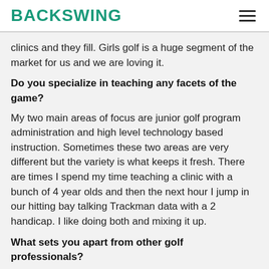BACKSWING
clinics and they fill. Girls golf is a huge segment of the market for us and we are loving it.
Do you specialize in teaching any facets of the game?
My two main areas of focus are junior golf program administration and high level technology based instruction. Sometimes these two areas are very different but the variety is what keeps it fresh. There are times I spend my time teaching a clinic with a bunch of 4 year olds and then the next hour I jump in our hitting bay talking Trackman data with a 2 handicap. I like doing both and mixing it up.
What sets you apart from other golf professionals?
We stand alone in our market as having the best